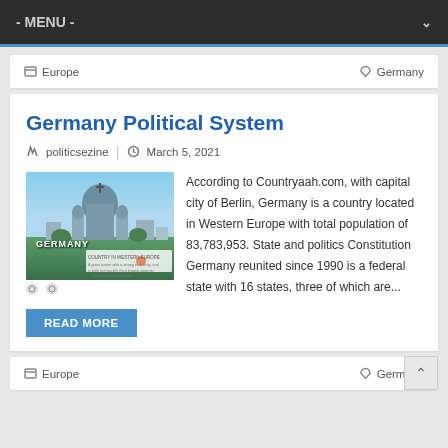- MENU -
Europe | Germany
Germany Political System
politicsezine | March 5, 2021
[Figure (photo): Photo of Germany with Berlin Cathedral and text overlay reading GERMANY]
According to Countryaah.com, with capital city of Berlin, Germany is a country located in Western Europe with total population of 83,783,953. State and politics Constitution Germany reunited since 1990 is a federal state with 16 states, three of which are...
READ MORE
Europe | Germany